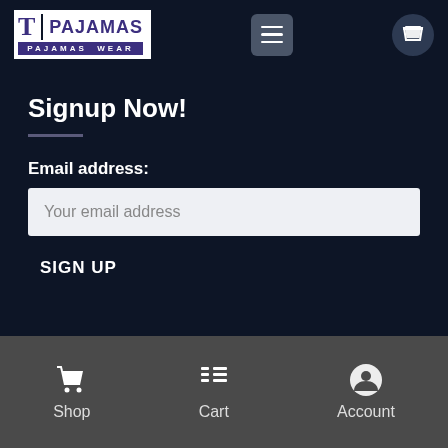[Figure (logo): T Pajamas brand logo with white background, purple T letter and PAJAMAS text, with PAJAMAS WEAR subtitle in purple bar]
[Figure (screenshot): Hamburger menu icon button with dark grey rounded square background]
[Figure (screenshot): Shopping bag cart icon in circular dark button]
Signup Now!
Email address:
Your email address
SIGN UP
Shop  Cart  Account